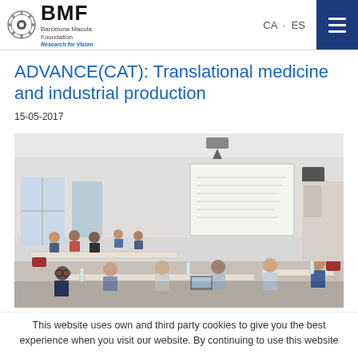BMF Barcelona Macula Foundation Research for Vision | CA · ES
ADVANCE(CAT): Translational medicine and industrial production
15-05-2017
[Figure (photo): A classroom/meeting room scene with multiple people seated at tables facing a projected whiteboard screen. A presenter stands at the front right. Participants are working at tables, some with laptops.]
This website uses own and third party cookies to give you the best experience when you visit our website. By continuing to use this website